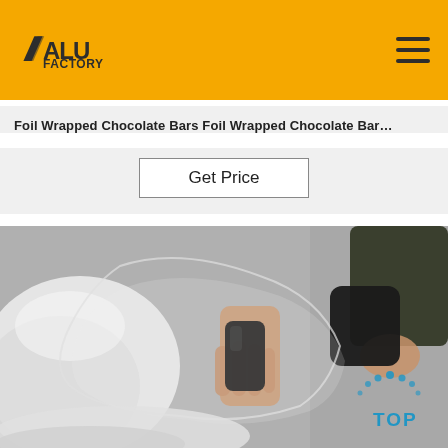ALU FACTORY
Foil Wrapped Chocolate Bars Foil Wrapped Chocolate Bar…
Get Price
[Figure (photo): A person holding a black object inside a clear plastic bag filled with white powder/material, on a grey surface. There is a 'TOP' navigation button in the lower right corner.]